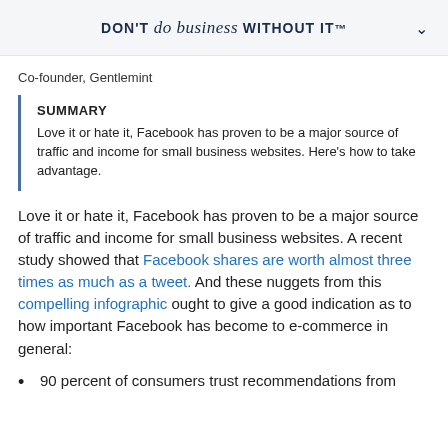DON'T do business WITHOUT IT™
Co-founder, Gentlemint
SUMMARY
Love it or hate it, Facebook has proven to be a major source of traffic and income for small business websites. Here's how to take advantage.
Love it or hate it, Facebook has proven to be a major source of traffic and income for small business websites. A recent study showed that Facebook shares are worth almost three times as much as a tweet. And these nuggets from this compelling infographic ought to give a good indication as to how important Facebook has become to e-commerce in general:
90 percent of consumers trust recommendations from